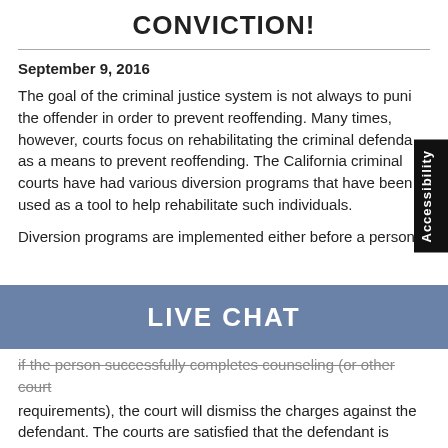CONVICTION!
September 9, 2016
The goal of the criminal justice system is not always to punish the offender in order to prevent reoffending. Many times, however, courts focus on rehabilitating the criminal defendant as a means to prevent reoffending. The California criminal courts have had various diversion programs that have been used as a tool to help rehabilitate such individuals.
Diversion programs are implemented either before a person
[Figure (other): Live Chat banner overlay in steel blue with white bold text reading LIVE CHAT]
if the person successfully completes counseling (or other court requirements), the court will dismiss the charges against the defendant. The courts are satisfied that the defendant is taking steps to improve his/her life and the defendant learns skills to avoid reoffending.